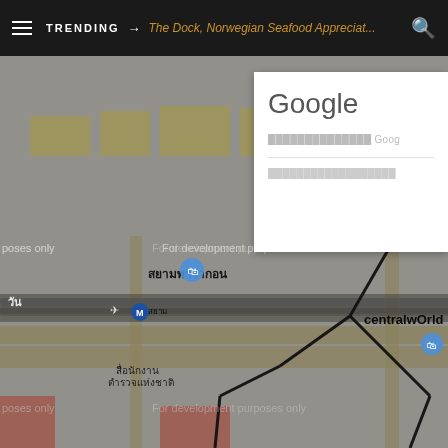TRENDING → The Dock, Norwegian Seafood Appreciat...
[Figure (map): Google Maps view of Bangkok (Pathumwan/Lumphini area) showing streets, landmarks including centralwOrld, ราชกรีฑาสโมสร, โรงพยาบาลตำรวจ, with Thai street labels. Overlay text reads 'For development purposes only'. A Google attribution popup is visible in the top-right corner showing 'Google' and redacted copyright text.]